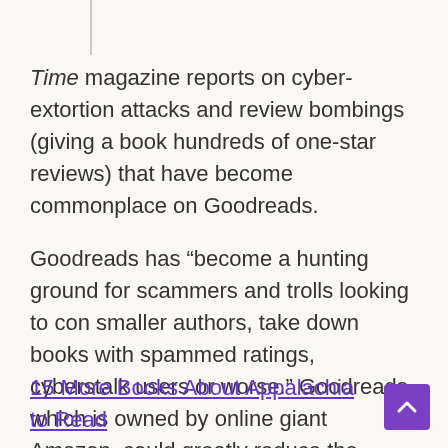Time magazine reports on cyber-extortion attacks and review bombings (giving a book hundreds of one-star reviews) that have become commonplace on Goodreads.
Goodreads has “become a hunting ground for scammers and trolls looking to con smaller authors, take down books with spammed ratings, cyberstalk users or worse.” Goodreads, which is owned by online giant Amazon, could greatly reduce the problem by requiring email verification for opening an account such as the Amazon web site requires for posting reviews, the article says.
15 More Books About Appalachia to Read